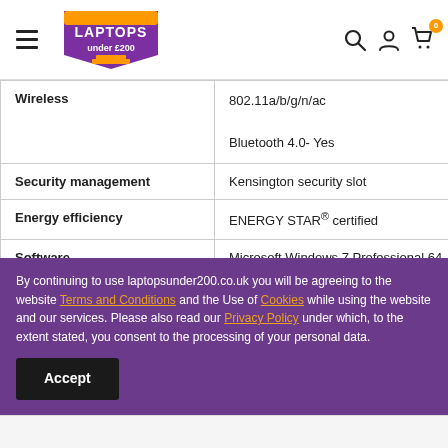Laptops under £200 — navigation header
| Feature | Details |
| --- | --- |
| Wireless | 802.11a/b/g/n/ac
Bluetooth 4.0- Yes |
| Security management | Kensington security slot |
| Energy efficiency | ENERGY STAR® certified |
| Software | Microsoft Windows 7 Professional 64- |
| Management features |  |
By continuing to use laptopsunder200.co.uk you will be agreeing to the website Terms and Conditions and the Use of Cookies while using the website and our services. Please also read our Privacy Policy under which, to the extent stated, you consent to the processing of your personal data.